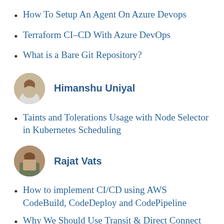How To Setup An Agent On Azure Devops
Terraform CI-CD With Azure DevOps
What is a Bare Git Repository?
Himanshu Uniyal
Taints and Tolerations Usage with Node Selector in Kubernetes Scheduling
Rajat Vats
How to implement CI/CD using AWS CodeBuild, CodeDeploy and CodePipeline
Why We Should Use Transit & Direct Connect Gateways!